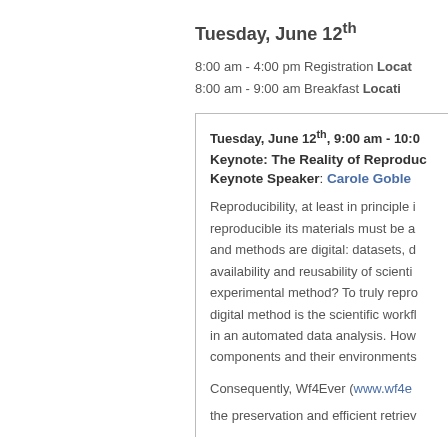Tuesday, June 12th
8:00 am - 4:00 pm Registration Location:
8:00 am - 9:00 am Breakfast Location:
Tuesday, June 12th, 9:00 am - 10:0[0 am]
Keynote: The Reality of Reproducibility
Keynote Speaker: Carole Goble
Reproducibility, at least in principle i[s easy.] reproducible its materials must be a[vailable] and methods are digital: datasets, d[ata...] availability and reusability of scienti[fic...] experimental method? To truly repro[duce...] digital method is the scientific workfl[ow...] in an automated data analysis. How[ever...] components and their environments[...]
Consequently, Wf4Ever (www.wf4e[ver...])
the preservation and efficient retriev[al...]